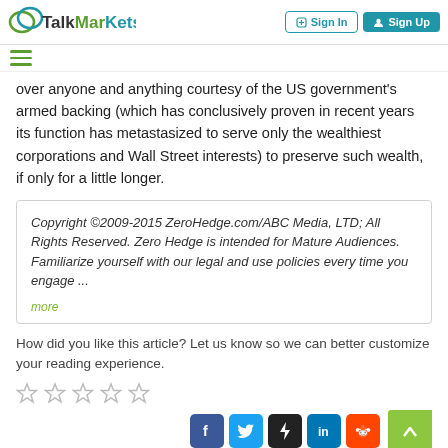TalkMarkets — Sign In | Sign Up
over anyone and anything courtesy of the US government's armed backing (which has conclusively proven in recent years its function has metastasized to serve only the wealthiest corporations and Wall Street interests) to preserve such wealth, if only for a little longer.
Copyright ©2009-2015 ZeroHedge.com/ABC Media, LTD; All Rights Reserved. Zero Hedge is intended for Mature Audiences. Familiarize yourself with our legal and use policies every time you engage ... more
How did you like this article? Let us know so we can better customize your reading experience.
[Figure (other): Five empty star rating icons for article feedback]
[Figure (other): Social sharing icons: Facebook, Twitter, Stocktwits, LinkedIn, Reddit. Back-to-top button.]